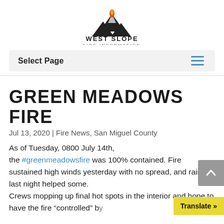[Figure (logo): West Slope Fire Information logo — mountain silhouette with flame, text WEST SLOPE FIRE INFORMATION]
Select Page  ☰
GREEN MEADOWS FIRE
Jul 13, 2020 | Fire News, San Miguel County
As of Tuesday, 0800 July 14th, the #greenmeadowsfire was 100% contained. Fire sustained high winds yesterday with no spread, and rain last night helped some.
Crews mopping up final hot spots in the interior and hope to have the fire "controlled" by